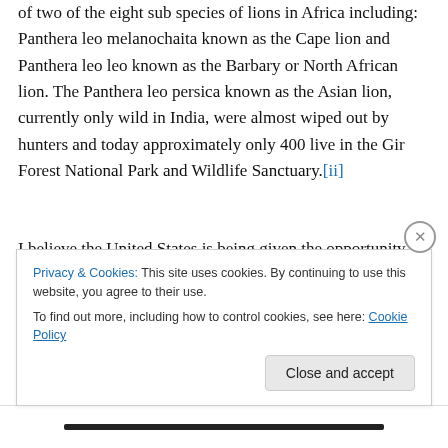of two of the eight sub species of lions in Africa including: Panthera leo melanochaita known as the Cape lion and Panthera leo leo known as the Barbary or North African lion. The Panthera leo persica known as the Asian lion, currently only wild in India, were almost wiped out by hunters and today approximately only 400 live in the Gir Forest National Park and Wildlife Sanctuary.[ii]
I believe the United States is being given the opportunity to begin to repair the damage that our collective attitude and our sense of entitlement we have over other living creatures as being “our own private resources” to do as
Privacy & Cookies: This site uses cookies. By continuing to use this website, you agree to their use.
To find out more, including how to control cookies, see here: Cookie Policy